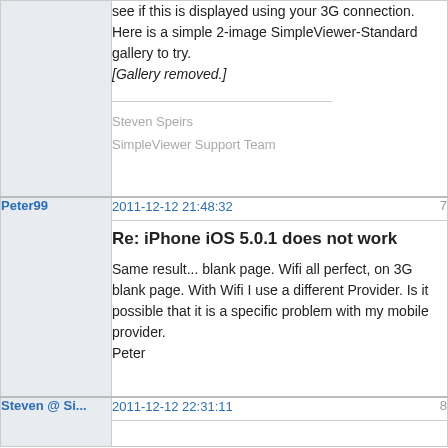see if this is displayed using your 3G connection. Here is a simple 2-image SimpleViewer-Standard gallery to try. [Gallery removed.]
Steven Speirs
SimpleViewer Support Team
Peter99
2011-12-12 21:48:32
7
Re: iPhone iOS 5.0.1 does not work
Same result... blank page. Wifi all perfect, on 3G blank page. With Wifi I use a different Provider. Is it possible that it is a specific problem with my mobile provider.
Peter
Steven @ Si...
2011-12-12 22:31:11
8